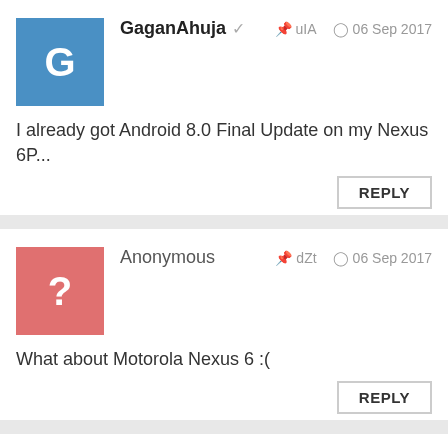GaganAhuja ✓   uIA   06 Sep 2017
I already got Android 8.0 Final Update on my Nexus 6P...
REPLY
Anonymous   dZt   06 Sep 2017
What about Motorola Nexus 6 :(
REPLY
Aliecake   4d0   06 Sep 2017
I had 8.0 update available on my 6p tonight. Updated both my pixel